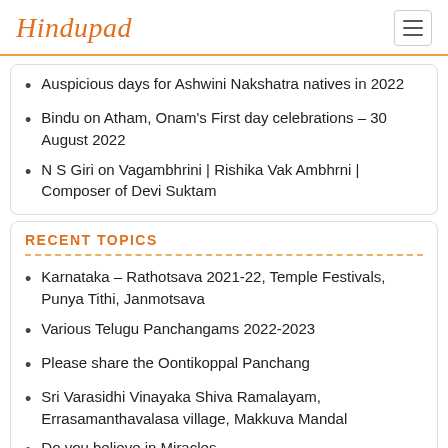Hindupad
Auspicious days for Ashwini Nakshatra natives in 2022
Bindu on Atham, Onam's First day celebrations – 30 August 2022
N S Giri on Vagambhrini | Rishika Vak Ambhrni | Composer of Devi Suktam
RECENT TOPICS
Karnataka – Rathotsava 2021-22, Temple Festivals, Punya Tithi, Janmotsava
Various Telugu Panchangams 2022-2023
Please share the Oontikoppal Panchang
Sri Varasidhi Vinayaka Shiva Ramalayam, Errasamanthavalasa village, Makkuva Mandal
Do you believe in Miracles